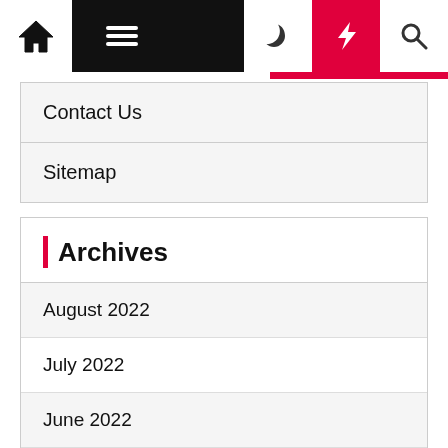Navigation bar with home, menu, moon, bolt, and search icons
Contact Us
Sitemap
Archives
August 2022
July 2022
June 2022
May 2022
April 2022